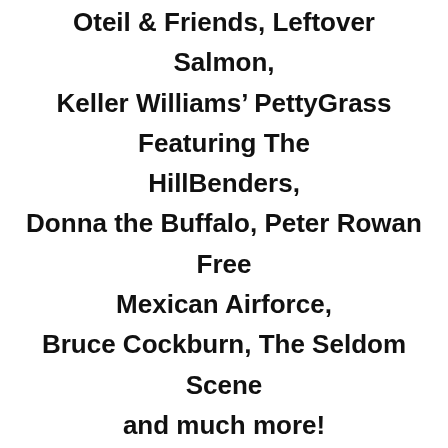Oteil & Friends, Leftover Salmon, Keller Williams' PettyGrass Featuring The HillBenders, Donna the Buffalo, Peter Rowan Free Mexican Airforce, Bruce Cockburn, The Seldom Scene and much more!
Tickets →
www.suwanneerootsrevival.com/tickets/